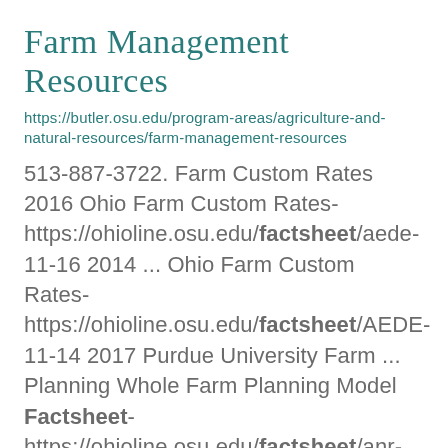Farm Management Resources
https://butler.osu.edu/program-areas/agriculture-and-natural-resources/farm-management-resources
513-887-3722. Farm Custom Rates 2016 Ohio Farm Custom Rates- https://ohioline.osu.edu/factsheet/aede-11-16 2014 ... Ohio Farm Custom Rates- https://ohioline.osu.edu/factsheet/AEDE-11-14 2017 Purdue University Farm ... Planning Whole Farm Planning Model Factsheet- https://ohioline.osu.edu/factsheet/anr-52 Planning for the ...